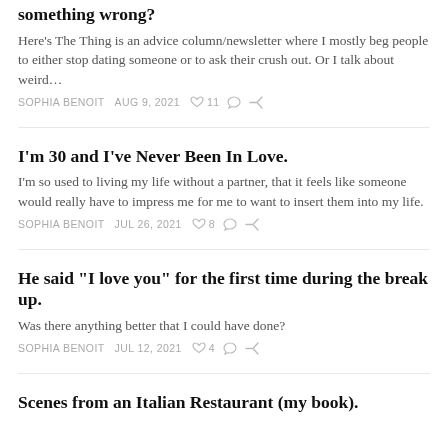something wrong?
Here's The Thing is an advice column/newsletter where I mostly beg people to either stop dating someone or to ask their crush out. Or I talk about weird…
SOPHIA BENOIT   AUG 9, 2021   ♡ 11
I'm 30 and I've Never Been In Love.
I'm so used to living my life without a partner, that it feels like someone would really have to impress me for me to want to insert them into my life.
SOPHIA BENOIT   JUL 26, 2021   ♡ 8
He said "I love you" for the first time during the break up.
Was there anything better that I could have done?
SOPHIA BENOIT   JUL 12, 2021   ♡ 4
Scenes from an Italian Restaurant (my book).